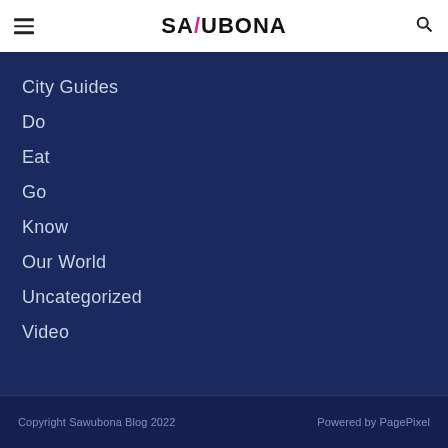SAWUBONA [menu icon] [search icon]
City Guides
Do
Eat
Go
Know
Our World
Uncategorized
Video
Copyright Sawubona Blog 2022   Powered by PagePixel